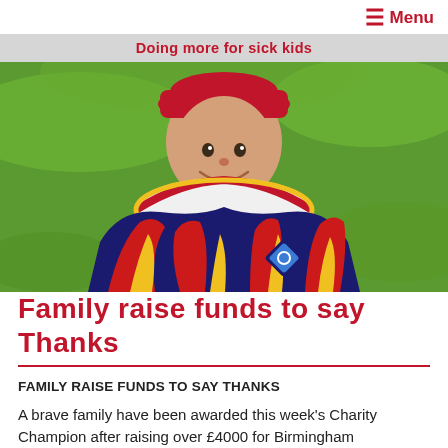Menu | Doing more for sick kids
[Figure (photo): A young boy smiling, wearing a colourful red, yellow and blue flame-patterned life jacket/swim vest with a logo on the chest and a matching cap, standing outdoors on grass.]
Family raise funds to say Thanks
FAMILY RAISE FUNDS TO SAY THANKS
A brave family have been awarded this week's Charity Champion after raising over £4000 for Birmingham